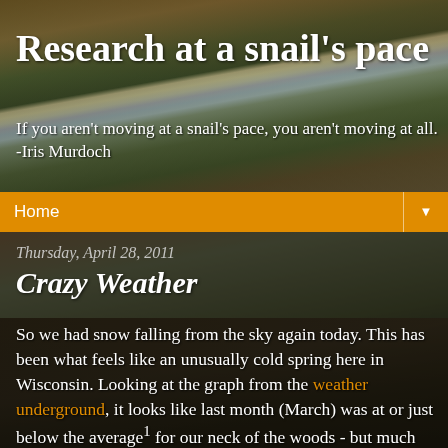Research at a snail's pace
If you aren't moving at a snail's pace, you aren't moving at all. -Iris Murdoch
Home
Thursday, April 28, 2011
Crazy Weather
So we had snow falling from the sky again today. This has been what feels like an unusually cold spring here in Wisconsin. Looking at the graph from the weather underground, it looks like last month (March) was at or just below the average¹ for our neck of the woods - but much cooler than usual just a bit further north and west